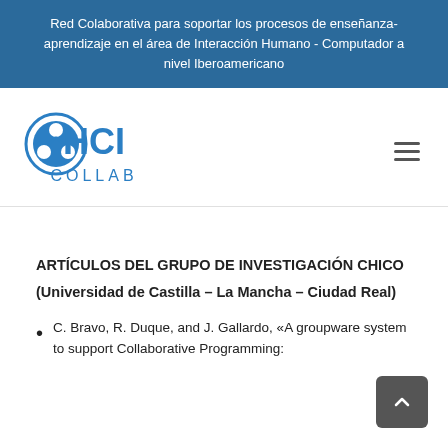Red Colaborativa para soportar los procesos de enseñanza-aprendizaje en el área de Interacción Humano - Computador a nivel Iberoamericano
[Figure (logo): HCI Collab logo with circular icon and text HCI COLLAB in blue]
ARTÍCULOS DEL GRUPO DE INVESTIGACIÓN CHICO
(Universidad de Castilla – La Mancha – Ciudad Real)
C. Bravo, R. Duque, and J. Gallardo, «A groupware system to support Collaborative Programming: